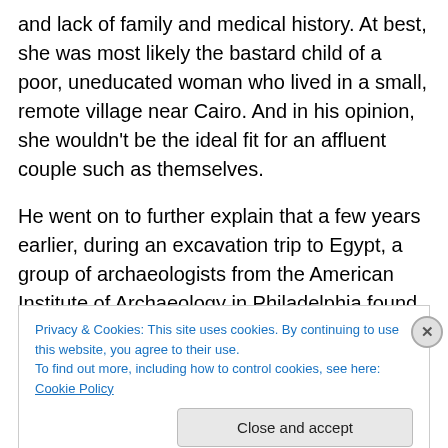and lack of family and medical history. At best, she was most likely the bastard child of a poor, uneducated woman who lived in a small, remote village near Cairo. And in his opinion, she wouldn't be the ideal fit for an affluent couple such as themselves.
He went on to further explain that a few years earlier, during an excavation trip to Egypt, a group of archaeologists from the American Institute of Archaeology in Philadelphia found her among the ancient ruins of the Great Pyramids of Egypt. It had been reported to the
Privacy & Cookies: This site uses cookies. By continuing to use this website, you agree to their use.
To find out more, including how to control cookies, see here: Cookie Policy